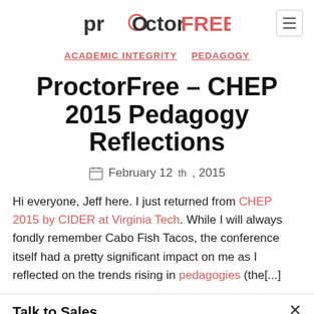proctorFREE
ACADEMIC INTEGRITY   PEDAGOGY
ProctorFree - CHEP 2015 Pedagogy Reflections
February 12th, 2015
Hi everyone, Jeff here. I just returned from CHEP 2015 by CIDER at Virginia Tech. While I will always fondly remember Cabo Fish Tacos, the conference itself had a pretty significant impact on me as I reflected on the trends rising in pedagogies (the[...]
Talk to Sales
Find the online proctoring solution that best serves